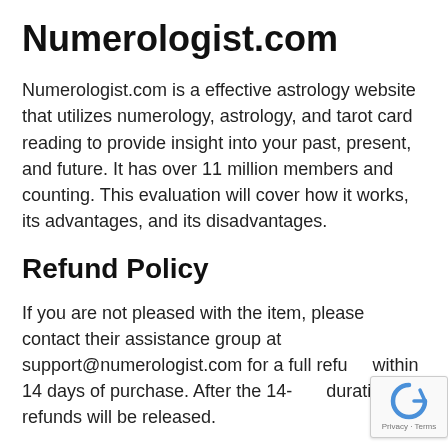Numerologist.com
Numerologist.com is a effective astrology website that utilizes numerology, astrology, and tarot card reading to provide insight into your past, present, and future. It has over 11 million members and counting. This evaluation will cover how it works, its advantages, and its disadvantages.
Refund Policy
If you are not pleased with the item, please contact their assistance group at support@numerologist.com for a full refund within 14 days of purchase. After the 14-day duration, no refunds will be released.